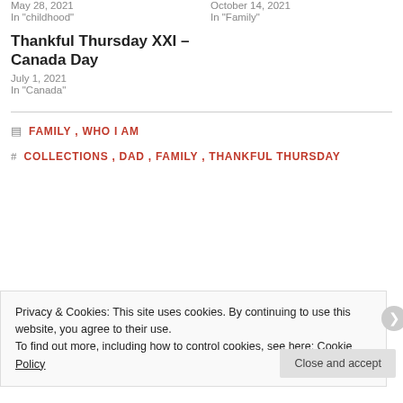May 28, 2021
In "childhood"
October 14, 2021
In "Family"
Thankful Thursday XXI – Canada Day
July 1, 2021
In "Canada"
FAMILY, WHO I AM
COLLECTIONS, DAD, FAMILY, THANKFUL THURSDAY
Privacy & Cookies: This site uses cookies. By continuing to use this website, you agree to their use.
To find out more, including how to control cookies, see here: Cookie Policy
Close and accept